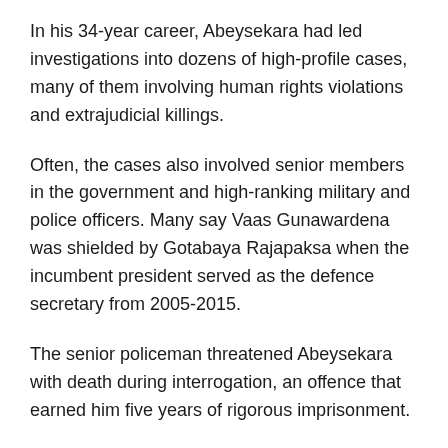In his 34-year career, Abeysekara had led investigations into dozens of high-profile cases, many of them involving human rights violations and extrajudicial killings.
Often, the cases also involved senior members in the government and high-ranking military and police officers. Many say Vaas Gunawardena was shielded by Gotabaya Rajapaksa when the incumbent president served as the defence secretary from 2005-2015.
The senior policeman threatened Abeysekara with death during interrogation, an offence that earned him five years of rigorous imprisonment.
Touted as one of the most “diligent” and “honest” officers, these qualities also made Abeysekara a target to be silenced.